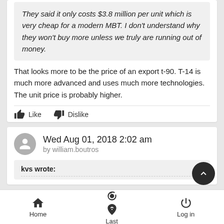Vladimir79 wrote:
They said it only costs $3.8 million per unit which is very cheap for a modern MBT. I don't understand why they won't buy more unless we truly are running out of money.
That looks more to be the price of an export t-90. T-14 is much more advanced and uses much more technologies. The unit price is probably higher.
Like   Dislike
Wed Aug 01, 2018 2:02 am
by william.boutros
kvs wrote:
Home   Last   Log in